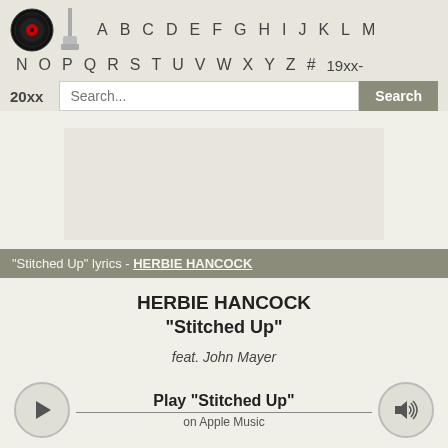A B C D E F G H I J K L M N O P Q R S T U V W X Y Z # 19xx- 20xx
Search...
[Figure (other): Advertisement placeholder box]
"Stitched Up" lyrics - HERBIE HANCOCK
HERBIE HANCOCK
"Stitched Up"
feat. John Mayer
Play "Stitched Up" on Apple Music